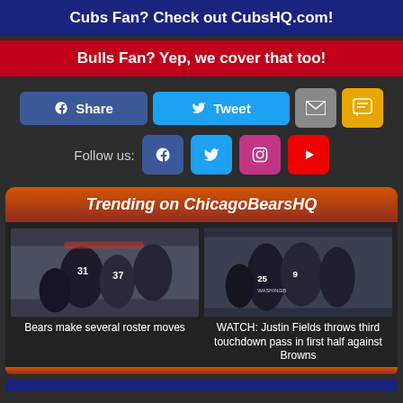Cubs Fan? Check out CubsHQ.com!
Bulls Fan? Yep, we cover that too!
[Figure (infographic): Social share buttons: Facebook Share, Twitter Tweet, Email, SMS]
[Figure (infographic): Follow us social icons: Facebook, Twitter, Instagram, YouTube]
Trending on ChicagoBearsHQ
[Figure (photo): Bears football players in action on the field]
Bears make several roster moves
[Figure (photo): Chicago Bears players celebrating, Justin Fields visible]
WATCH: Justin Fields throws third touchdown pass in first half against Browns